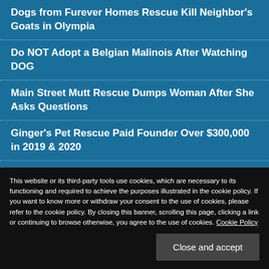Dogs from Furever Homes Rescue Kill Neighbor's Goats in Olympia
Do NOT Adopt a Belgian Malinois After Watching DOG
Main Street Mutt Rescue Dumps Woman After She Asks Questions
Ginger's Pet Rescue Paid Founder Over $300,000 in 2019 & 2020
This website or its third-party tools use cookies, which are necessary to its functioning and required to achieve the purposes illustrated in the cookie policy. If you want to know more or withdraw your consent to the use of cookies, please refer to the cookie policy. By closing this banner, scrolling this page, clicking a link or continuing to browse otherwise, you agree to the use of cookies. Cookie Policy
Close and accept